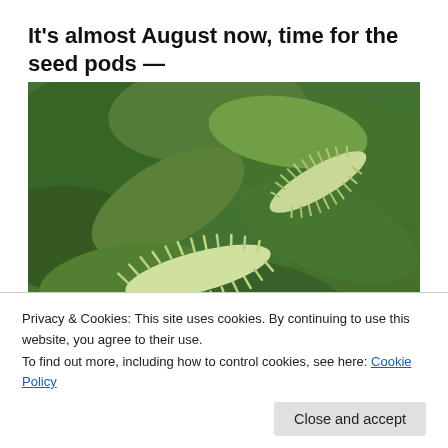It's almost August now, time for the seed pods —
[Figure (photo): Close-up photograph of spiky green seed pods (likely from a milkweed or similar plant) among large green leaves, photographed outdoors in bright sunlight.]
Privacy & Cookies: This site uses cookies. By continuing to use this website, you agree to their use.
To find out more, including how to control cookies, see here: Cookie Policy